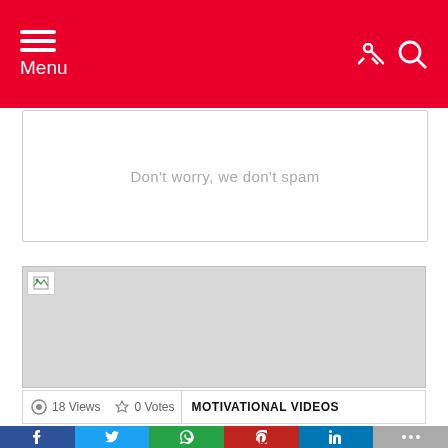Menu
Don't worry, we don't spam
[Figure (photo): Broken image placeholder - large gray rectangle with broken image icon in top-left corner]
18 Views  0 Votes  MOTIVATIONAL VIDEOS
[Figure (infographic): Social share buttons: Facebook, Twitter, WhatsApp, Pinterest, LinkedIn, More (...)]